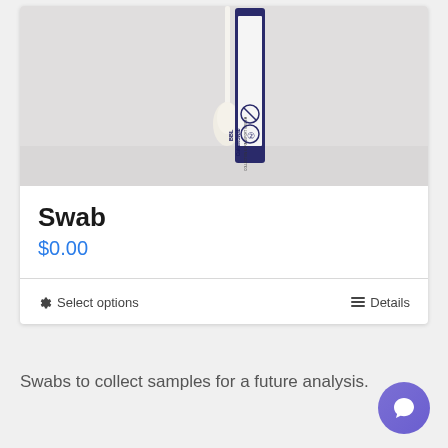[Figure (photo): A BBL CultureSwab collection and transport device standing upright against a light gray background. The swab packaging is visible with text 'BBL CultureSwab' and safety symbols printed on it.]
Swab
$0.00
Select options
Details
Swabs to collect samples for a future analysis.